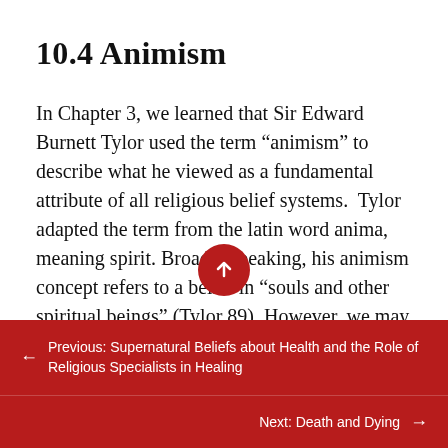10.4 Animism
In Chapter 3, we learned that Sir Edward Burnett Tylor used the term “animism” to describe what he viewed as a fundamental attribute of all religious belief systems.  Tylor adapted the term from the latin word anima, meaning spirit. Broadly speaking, his animism concept refers to a belief in “souls and other spiritual beings” (Tylor 89). However, we may
← Previous: Supernatural Beliefs about Health and the Role of Religious Specialists in Healing
Next: Death and Dying →